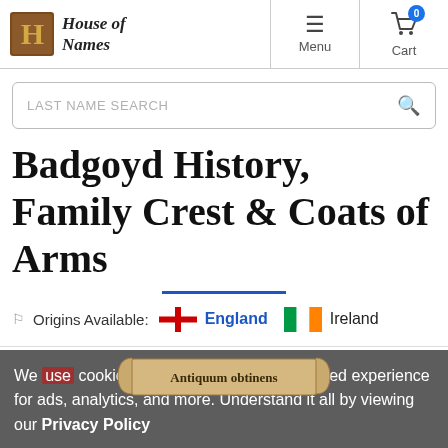House of Names — Menu | Cart
LAST NAME SEARCH
Badgoyd History, Family Crest & Coats of Arms
Origins Available: England  Ireland
We use cookies to enhance your personalized experience for ads, analytics, and more. Understand it all by viewing our Privacy Policy